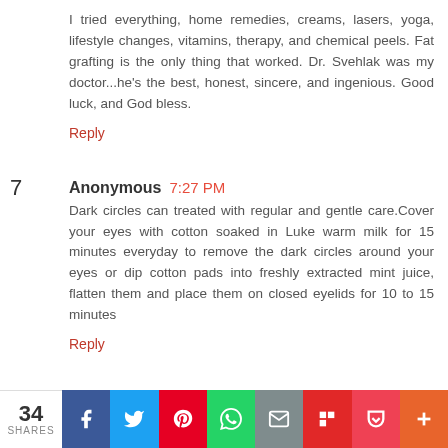I tried everything, home remedies, creams, lasers, yoga, lifestyle changes, vitamins, therapy, and chemical peels. Fat grafting is the only thing that worked. Dr. Svehlak was my doctor...he's the best, honest, sincere, and ingenious. Good luck, and God bless.
Reply
Anonymous 7:27 PM
Dark circles can treated with regular and gentle care.Cover your eyes with cotton soaked in Luke warm milk for 15 minutes everyday to remove the dark circles around your eyes or dip cotton pads into freshly extracted mint juice, flatten them and place them on closed eyelids for 10 to 15 minutes
Reply
34 SHARES